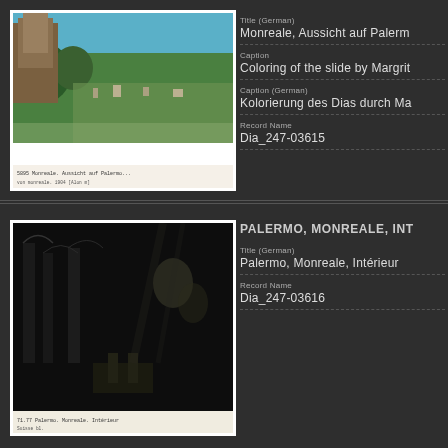[Figure (photo): Colorized lantern slide showing aerial view of Palermo from Monreale with buildings and green landscape]
Title (German)
Monreale, Aussicht auf Palerm
Caption
Coloring of the slide by Margrit
Caption (German)
Kolorierung des Dias durch Ma
Record Name
Dia_247-03615
[Figure (photo): Black and white lantern slide showing interior of Monreale Cathedral with arches and columns]
PALERMO, MONREALE, INT
Title (German)
Palermo, Monreale, Intérieur
Record Name
Dia_247-03616